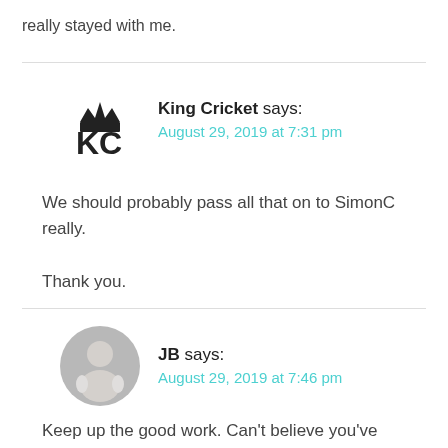really stayed with me.
King Cricket says:
August 29, 2019 at 7:31 pm
We should probably pass all that on to SimonC really.

Thank you.
JB says:
August 29, 2019 at 7:46 pm
Keep up the good work. Can't believe you've